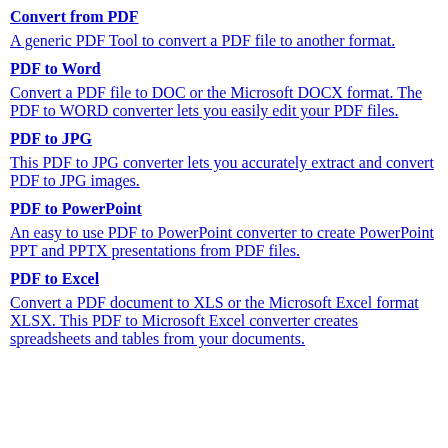Convert from PDF
A generic PDF Tool to convert a PDF file to another format.
PDF to Word
Convert a PDF file to DOC or the Microsoft DOCX format. The PDF to WORD converter lets you easily edit your PDF files.
PDF to JPG
This PDF to JPG converter lets you accurately extract and convert PDF to JPG images.
PDF to PowerPoint
An easy to use PDF to PowerPoint converter to create PowerPoint PPT and PPTX presentations from PDF files.
PDF to Excel
Convert a PDF document to XLS or the Microsoft Excel format XLSX. This PDF to Microsoft Excel converter creates spreadsheets and tables from your documents.